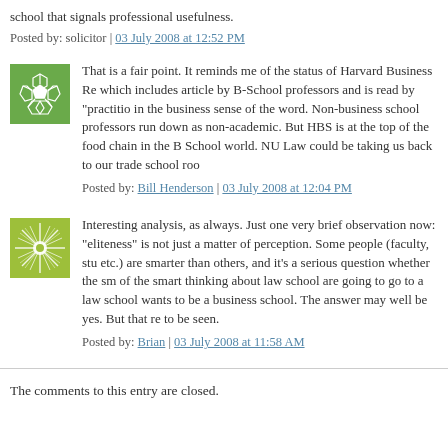school that signals professional usefulness.
Posted by: solicitor | 03 July 2008 at 12:52 PM
That is a fair point. It reminds me of the status of Harvard Business Re which includes article by B-School professors and is read by "practitio in the business sense of the word. Non-business school professors run down as non-academic. But HBS is at the top of the food chain in the B School world. NU Law could be taking us back to our trade school roo
Posted by: Bill Henderson | 03 July 2008 at 12:04 PM
Interesting analysis, as always. Just one very brief observation now: "eliteness" is not just a matter of perception. Some people (faculty, stu etc.) are smarter than others, and it's a serious question whether the sm of the smart thinking about law school are going to go to a law school wants to be a business school. The answer may well be yes. But that re to be seen.
Posted by: Brian | 03 July 2008 at 11:58 AM
The comments to this entry are closed.